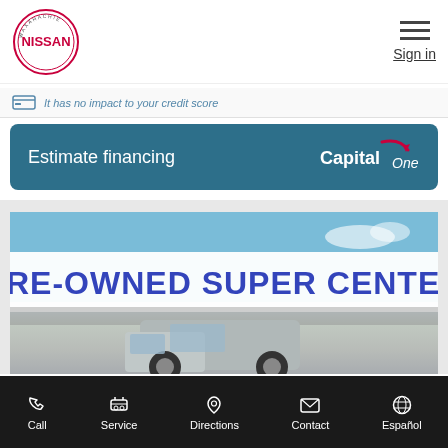[Figure (logo): Waxahachie Nissan circular logo with red NISSAN text in center]
[Figure (illustration): Hamburger menu icon (three horizontal lines)]
Sign in
It has no impact to your credit score
Estimate financing
[Figure (logo): Capital One logo in white]
[Figure (photo): Photo of Pre-Owned Super Center dealership sign with a vehicle in foreground]
Call
Service
Directions
Contact
Español